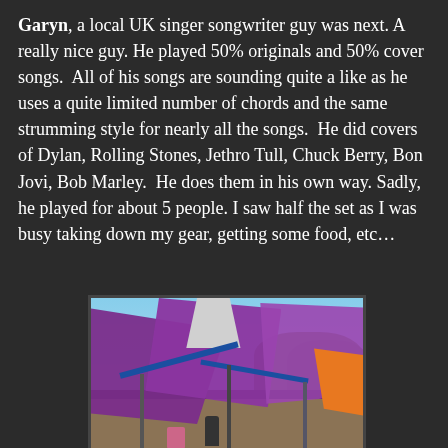Garyn, a local UK singer songwriter guy was next. A really nice guy. He played 50% originals and 50% cover songs.  All of his songs are sounding quite a like as he uses a quite limited number of chords and the same strumming style for nearly all the songs.  He did covers of Dylan, Rolling Stones, Jethro Tull, Chuck Berry, Bon Jovi, Bob Marley.  He does them in his own way. Sadly, he played for about 5 people. I saw half the set as I was busy taking down my gear, getting some food, etc…
[Figure (photo): Outdoor festival scene with large purple canopies/sail shades overhead, blue structural poles and struts, orange fabric visible at right, trees in background, people visible below the canopy structure.]